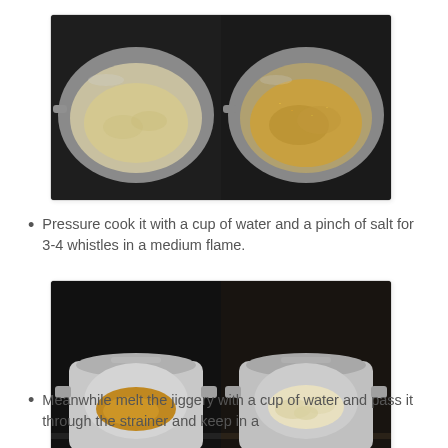[Figure (photo): Two side-by-side photos of a stainless steel pan on a stove: left shows raw/uncooked grain (semolina/rava), right shows toasted/browned grain.]
Pressure cook it with a cup of water and a pinch of salt for 3-4 whistles in a medium flame.
[Figure (photo): Two side-by-side photos of an aluminum pressure cooker on a stove: left shows melted jaggery (amber liquid), right shows cooked grain inside.]
Meanwhile melt the jiggery with a cup of water and pass it through the strainer and keep in a